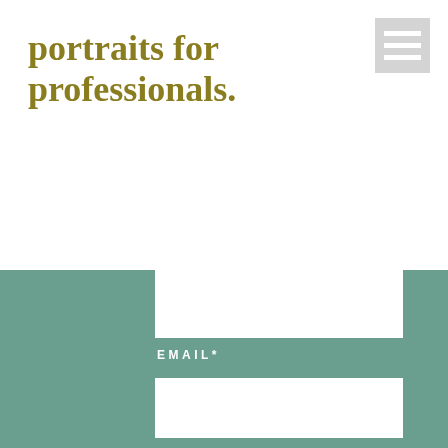portraits for professionals.
[Figure (other): Hamburger menu icon with three horizontal white lines on grey background]
EMAIL*
MESSAGE*
SUBMIT